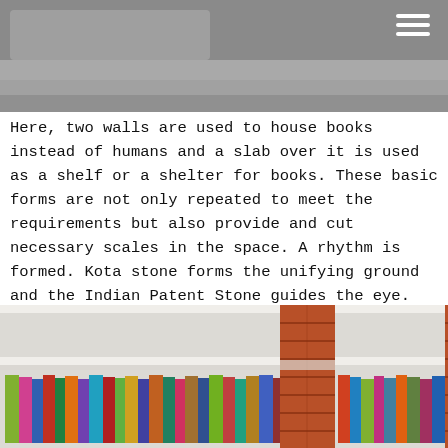[Figure (photo): Top portion of a photograph showing a library/bookshelf interior with books and shelves visible, with a hamburger menu icon in the top right corner on a gray background.]
Here, two walls are used to house books instead of humans and a slab over it is used as a shelf or a shelter for books. These basic forms are not only repeated to meet the requirements but also provide and cut necessary scales in the space. A rhythm is formed. Kota stone forms the unifying ground and the Indian Patent Stone guides the eye. The exposed brick fins creates a sense of repetition and the concrete flat beams break the volume to a more humane scale.
[Figure (photo): Bottom photograph showing bookshelves with colorful books and exposed brick columns/fins dividing the shelving sections. Books of various colors are visible on the shelves.]